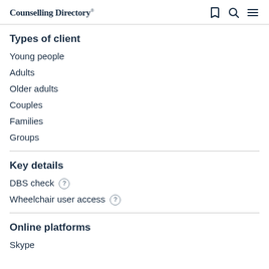Counselling Directory
Types of client
Young people
Adults
Older adults
Couples
Families
Groups
Key details
DBS check ?
Wheelchair user access ?
Online platforms
Skype